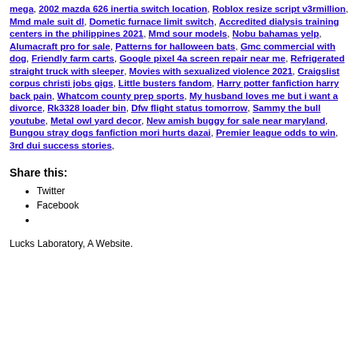mega, 2002 mazda 626 inertia switch location, Roblox resize script v3rmillion, Mmd male suit dl, Dometic furnace limit switch, Accredited dialysis training centers in the philippines 2021, Mmd sour models, Nobu bahamas yelp, Alumacraft pro for sale, Patterns for halloween bats, Gmc commercial with dog, Friendly farm carts, Google pixel 4a screen repair near me, Refrigerated straight truck with sleeper, Movies with sexualized violence 2021, Craigslist corpus christi jobs gigs, Little busters fandom, Harry potter fanfiction harry back pain, Whatcom county prep sports, My husband loves me but i want a divorce, Rk3328 loader bin, Dfw flight status tomorrow, Sammy the bull youtube, Metal owl yard decor, New amish buggy for sale near maryland, Bungou stray dogs fanfiction mori hurts dazai, Premier league odds to win, 3rd dui success stories,
Share this:
Twitter
Facebook
Lucks Laboratory, A Website.